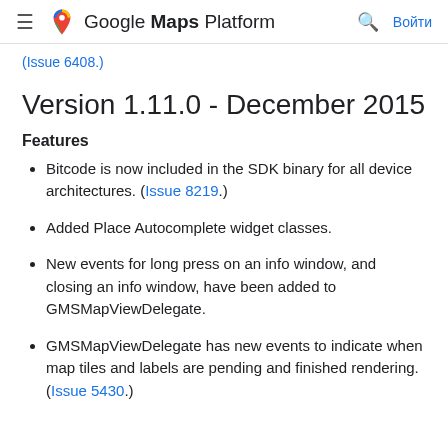≡  Google Maps Platform  🔍  Войти
(Issue 6408.)
Version 1.11.0 - December 2015
Features
Bitcode is now included in the SDK binary for all device architectures. (Issue 8219.)
Added Place Autocomplete widget classes.
New events for long press on an info window, and closing an info window, have been added to GMSMapViewDelegate.
GMSMapViewDelegate has new events to indicate when map tiles and labels are pending and finished rendering. (Issue 5430.)